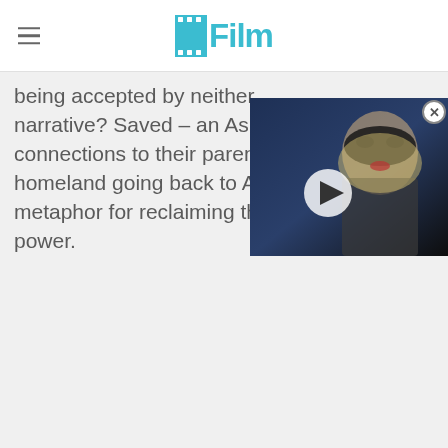/Film
being accepted by neither. narrative? Saved – an Asian connections to their parents homeland going back to As metaphor for reclaiming their power.
[Figure (screenshot): Video thumbnail showing a person in a black cat mask costume with blonde hair, with a circular play button overlay. Part of a video player overlay on the webpage.]